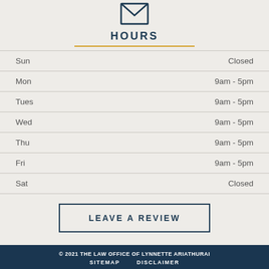[Figure (illustration): Envelope icon (mail symbol) drawn in dark teal/navy outline style]
HOURS
| Day | Hours |
| --- | --- |
| Sun | Closed |
| Mon | 9am - 5pm |
| Tues | 9am - 5pm |
| Wed | 9am - 5pm |
| Thu | 9am - 5pm |
| Fri | 9am - 5pm |
| Sat | Closed |
LEAVE A REVIEW
© 2021 THE LAW OFFICE OF LYNNETTE ARIATHURAI  SITEMAP  DISCLAIMER